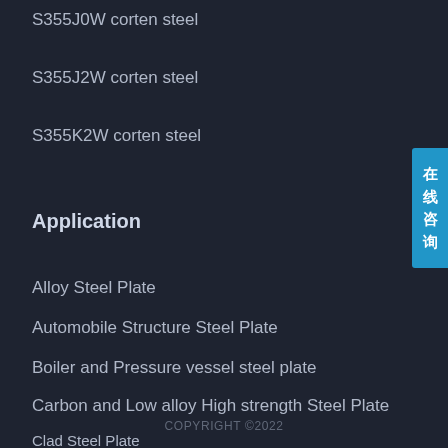S355J0W corten steel
S355J2W corten steel
S355K2W corten steel
Application
Alloy Steel Plate
Automobile Structure Steel Plate
Boiler and Pressure vessel steel plate
Carbon and Low alloy High strength Steel Plate
Clad Steel Plate
COPYRIGHT ©2022